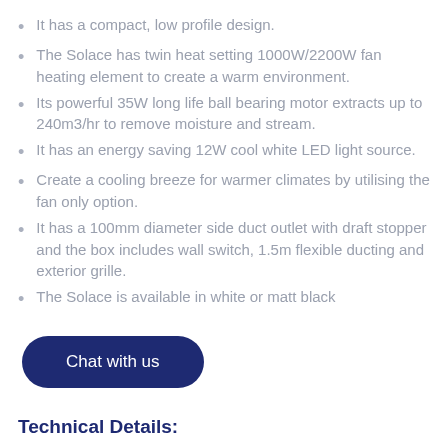It has a compact, low profile design.
The Solace has twin heat setting 1000W/2200W fan heating element to create a warm environment.
Its powerful 35W long life ball bearing motor extracts up to 240m3/hr to remove moisture and stream.
It has an energy saving 12W cool white LED light source.
Create a cooling breeze for warmer climates by utilising the fan only option.
It has a 100mm diameter side duct outlet with draft stopper and the box includes wall switch, 1.5m flexible ducting and exterior grille.
The Solace is available in white or matt black
[Figure (other): Dark navy blue oval chat button with white text 'Chat with us']
Technical Details: